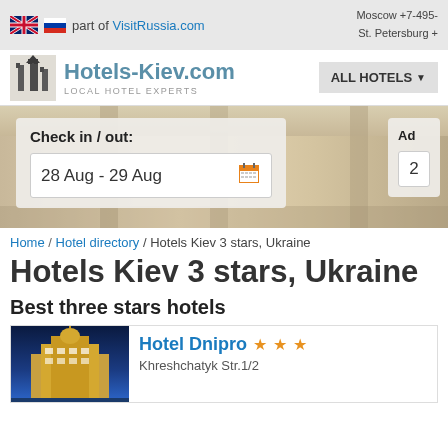part of VisitRussia.com | Moscow +7-495- | St. Petersburg +
Hotels-Kiev.com LOCAL HOTEL EXPERTS
[Figure (screenshot): Hotel room interior booking widget with check in/out dates 28 Aug - 29 Aug and adults count 2]
Check in / out: 28 Aug - 29 Aug | Ad... 2
Home / Hotel directory / Hotels Kiev 3 stars, Ukraine
Hotels Kiev 3 stars, Ukraine
Best three stars hotels
Hotel Dnipro ★★★
Khreshchatyk Str.1/2